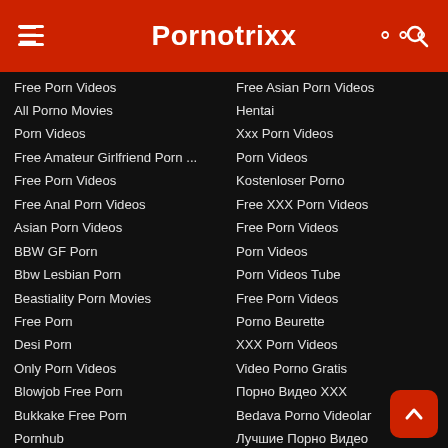Pornotrixx
Free Porn Videos
All Porno Movies
Porn Videos
Free Amateur Girlfriend Porn ...
Free Porn Videos
Free Anal Porn Videos
Asian Porn Videos
BBW GF Porn
Bbw Lesbian Porn
Beastiality Porn Movies
Free Porn
Desi Porn
Only Porn Videos
Blowjob Free Porn
Bukkake Free Porn
Pornhub
Chubby Free Porn
Clit Licking Lesbian Porn
Cosplay Free Porn Videos
Creampie Porn Tube
Free Asian Porn Videos
Hentai
Xxx Porn Videos
Porn Videos
Kostenloser Porno
Free XXX Porn Videos
Free Porn Videos
Porn Videos
Porn Videos Tube
Free Porn Videos
Porno Beurette
XXX Porn Videos
Video Porno Gratis
Порно Видео XXX
Bedava Porno Videolar
Лучшие Порно Видео
Videos Porno Gratis
Porn Tube
Porn Videos
Hentai Porn Videos